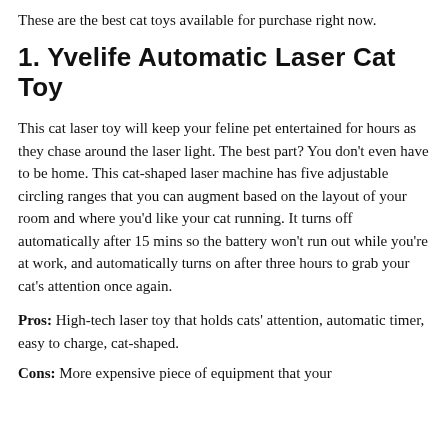These are the best cat toys available for purchase right now.
1. Yvelife Automatic Laser Cat Toy
This cat laser toy will keep your feline pet entertained for hours as they chase around the laser light. The best part? You don't even have to be home. This cat-shaped laser machine has five adjustable circling ranges that you can augment based on the layout of your room and where you'd like your cat running. It turns off automatically after 15 mins so the battery won't run out while you're at work, and automatically turns on after three hours to grab your cat's attention once again.
Pros: High-tech laser toy that holds cats' attention, automatic timer, easy to charge, cat-shaped.
Cons: More expensive piece of equipment that your